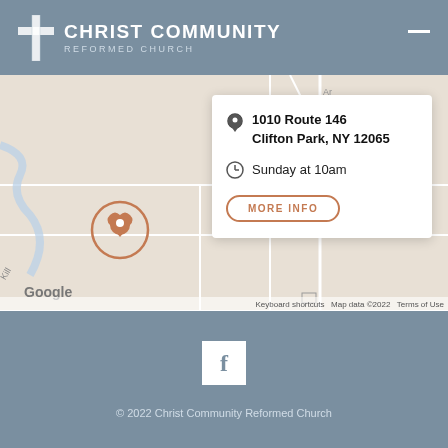Christ Community Reformed Church
[Figure (map): Google Maps view showing street map of Clifton Park, NY area with a location pin marker in a circle indicating the church location. A white popup card overlays the map showing the address, service time, and a More Info button.]
1010 Route 146
Clifton Park, NY 12065
Sunday at 10am
MORE INFO
© 2022 Christ Community Reformed Church